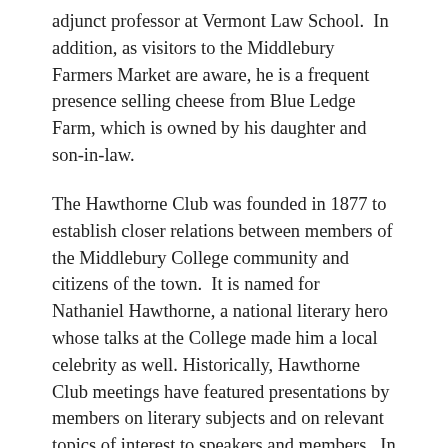adjunct professor at Vermont Law School.  In addition, as visitors to the Middlebury Farmers Market are aware, he is a frequent presence selling cheese from Blue Ledge Farm, which is owned by his daughter and son-in-law.
The Hawthorne Club was founded in 1877 to establish closer relations between members of the Middlebury College community and citizens of the town.  It is named for Nathaniel Hawthorne, a national literary hero whose talks at the College made him a local celebrity as well. Historically, Hawthorne Club meetings have featured presentations by members on literary subjects and on relevant topics of interest to speakers and members.  In more recent years outside speakers regularly have been invited to address the group.
In 2014, the Club decided to broaden its horizons by sharing at least one offering a year with the community-at-large in partnership with the Henry Sheldon Museum of Vermont